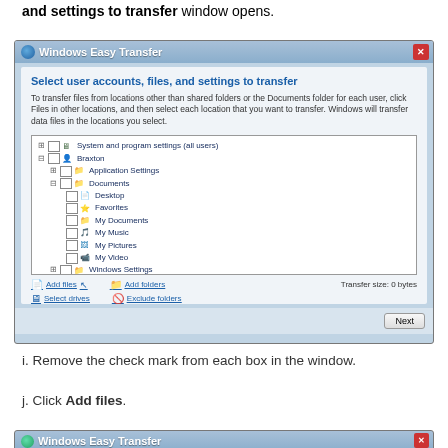and settings to transfer window opens.
[Figure (screenshot): Windows Easy Transfer dialog showing 'Select user accounts, files, and settings to transfer' with a tree of checkboxes including System and program settings (all users), Braxton user with Application Settings, Documents (Desktop, Favorites, My Documents, My Music, My Pictures, My Video), Windows Settings, and Files in other locations (selected/highlighted). Bottom links: Add files, Add folders, Select drives, Exclude folders. Transfer size: 0 bytes. Next button at bottom right.]
i. Remove the check mark from each box in the window.
j. Click Add files.
[Figure (screenshot): Bottom portion of Windows Easy Transfer dialog (title bar only visible).]